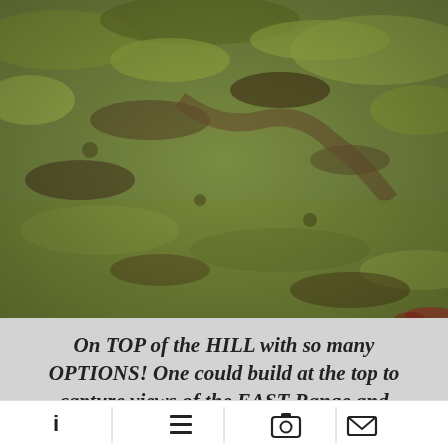[Figure (photo): Aerial or ground-level photo of a grassy hillside with patches of brown dirt and green grass, taken in bright daylight.]
On TOP of the HILL with so many OPTIONS! One could build at the top to capture views of the EAST Range and western views, or one could build near the road affording more privacy. Or one could do a split
[Figure (other): Bottom navigation bar with four icons: info (i), list/menu icon, camera icon, and envelope/mail icon, separated by vertical dividers.]